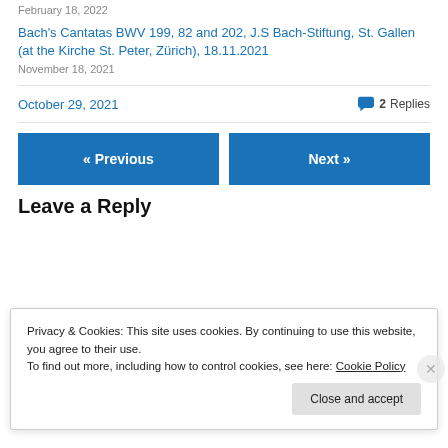February 18, 2022
Bach's Cantatas BWV 199, 82 and 202, J.S Bach-Stiftung, St. Gallen (at the Kirche St. Peter, Zürich), 18.11.2021
November 18, 2021
October 29, 2021   2 Replies
« Previous
Next »
Leave a Reply
Privacy & Cookies: This site uses cookies. By continuing to use this website, you agree to their use.
To find out more, including how to control cookies, see here: Cookie Policy
Close and accept